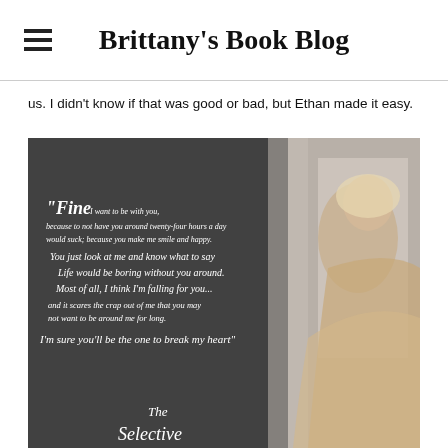Brittany's Book Blog
us. I didn't know if that was good or bad, but Ethan made it easy.
[Figure (illustration): Book quote image with a woman in a sparkly dress and script text reading: "Fine. I want to be with you, because to not have you around twenty-four hours a day would suck; because you make me smile and happy. You just look at me and know what to say Life would be boring without you around Most of all, I think I'm falling for you... and it scares the crap out of me that you may not want to be around me for long. I'm sure you'll be the one to break my heart" and at the bottom 'The Selective...']